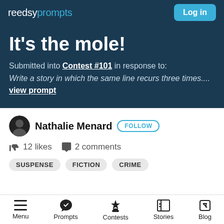reedsy prompts | Log in
It's the mole!
Submitted into Contest #101 in response to: Write a story in which the same line recurs three times.... view prompt
Nathalie Menard FOLLOW
12 likes  2 comments
SUSPENSE  FICTION  CRIME
Menu  Prompts  Contests  Stories  Blog